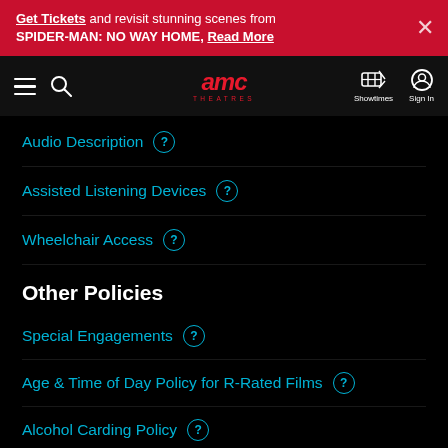Get Tickets and revisit stunning scenes from SPIDER-MAN: NO WAY HOME, Read More
[Figure (logo): AMC Theatres navigation bar with hamburger menu, search icon, AMC Theatres logo, Showtimes icon, and Sign In icon]
Audio Description
Assisted Listening Devices
Wheelchair Access
Other Policies
Special Engagements
Age & Time of Day Policy for R-Rated Films
Alcohol Carding Policy
No Outside Food and Beverage
Pricing Notice